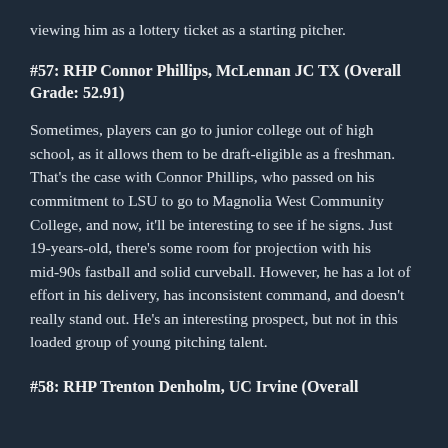viewing him as a lottery ticket as a starting pitcher.
#57: RHP Connor Phillips, McLennan JC TX (Overall Grade: 52.91)
Sometimes, players can go to junior college out of high school, as it allows them to be draft-eligible as a freshman. That's the case with Connor Phillips, who passed on his commitment to LSU to go to Magnolia West Community College, and now, it'll be interesting to see if he signs. Just 19-years-old, there's some room for projection with his mid-90s fastball and solid curveball. However, he has a lot of effort in his delivery, has inconsistent command, and doesn't really stand out. He's an interesting prospect, but not in this loaded group of young pitching talent.
#58: RHP Trenton Denholm, UC Irvine (Overall